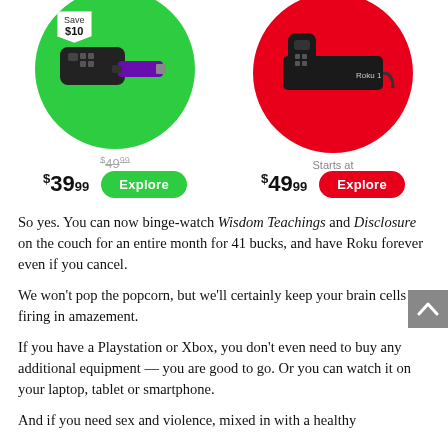[Figure (photo): Two Roku product images side by side. Left: Roku streaming stick on a green circle background with a 'Save $10' price tag icon, showing old price $49.99 and new price $39.99 with a green Explore button. Right: Roku streaming box on a red circle background, showing 'Starts at $49.99' with a red Explore button.]
So yes. You can now binge-watch Wisdom Teachings and Disclosure on the couch for an entire month for 41 bucks, and have Roku forever even if you cancel.
We won't pop the popcorn, but we'll certainly keep your brain cells firing in amazement.
If you have a Playstation or Xbox, you don't even need to buy any additional equipment — you are good to go. Or you can watch it on your laptop, tablet or smartphone.
And if you need sex and violence, mixed in with a healthy